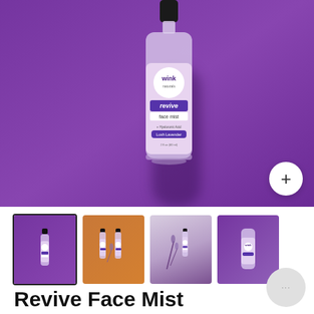[Figure (photo): Product photo of Wink Naturals Revive Face Mist in Lush Lavender, a clear spray bottle with purple label, photographed flat-lay on a purple background. A circular plus (+) button is visible in the lower right corner.]
[Figure (photo): Row of four thumbnail images: 1) Same face mist bottle on purple background, 2) Two bottles with lavender sprigs on an orange/wood surface, 3) Face mist bottle with dried lavender flowers on light background, 4) Bottle on purple background (partial/cropped view).]
Revive Face Mist